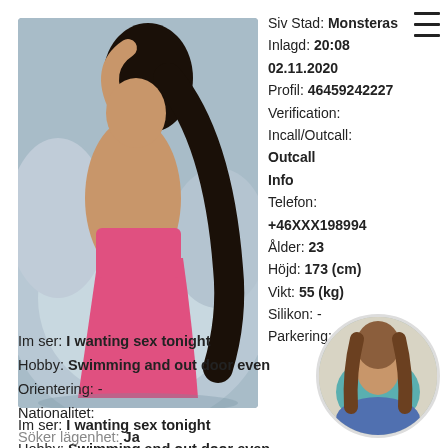[Figure (photo): Photo of a young woman posing in pink clothing against a decorative blue/silver chair background]
Siv Stad: Monsteras
Inlagd: 20:08 02.11.2020
Profil: 46459242227
Verification: Incall/Outcall:
Outcall
Info
Telefon: +46XXX198994
Ålder: 23
Höjd: 173 (cm)
Vikt: 55 (kg)
Silikon: -
Parkering: Ja
Im ser: I wanting sex tonight
Hobby: Swimming and out door even
Orientering: -
Nationalitet:
Söker lägenhet: Ja
[Figure (photo): Small circular thumbnail photo of a young woman in teal top and denim shorts]